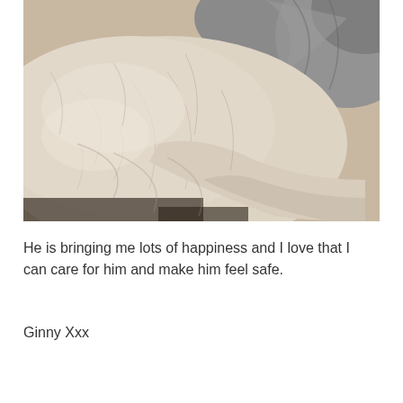[Figure (photo): Close-up photo of a cat's fur, showing white and gray fur textures against a dark background. The image appears to be a macro shot of the cat's body/fur.]
He is bringing me lots of happiness and I love that I can care for him and make him feel safe.
Ginny Xxx